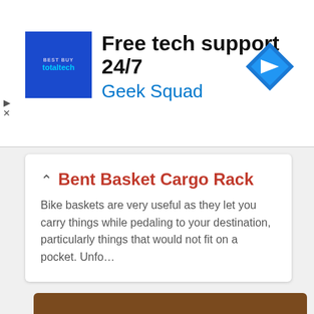[Figure (screenshot): Advertisement banner: Geek Squad / Best Buy Total Tech - Free tech support 24/7, with blue logo and cyan diamond icon on right]
Bent Basket Cargo Rack
Bike baskets are very useful as they let you carry things while pedaling to your destination, particularly things that would not fit on a pocket. Unfo...
[Figure (photo): Close-up photo of a guitar fretboard with a clear plastic chord helper device showing colored buttons (blue, green, red) being pressed by a hand]